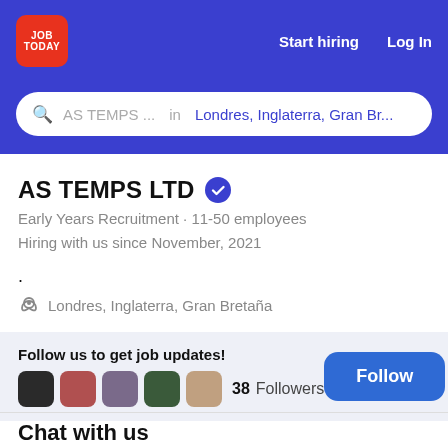JOB TODAY  Start hiring  Log In
AS TEMPS ... in Londres, Inglaterra, Gran Br...
AS TEMPS LTD
Early Years Recruitment • 11-50 employees
Hiring with us since November, 2021
.
Londres, Inglaterra, Gran Bretaña
Follow us to get job updates!  38 Followers
Chat with us